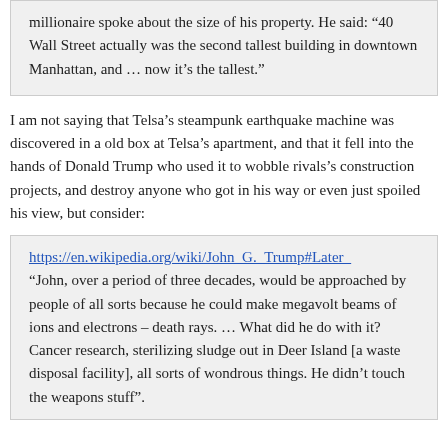millionaire spoke about the size of his property. He said: ‘40 Wall Street actually was the second tallest building in downtown Manhattan, and … now it’s the tallest.”
I am not saying that Telsa’s steampunk earthquake machine was discovered in a old box at Telsa’s apartment, and that it fell into the hands of Donald Trump who used it to wobble rivals’s construction projects, and destroy anyone who got in his way or even just spoiled his view, but consider:
https://en.wikipedia.org/wiki/John_G._Trump#Later_
“John, over a period of three decades, would be approached by people of all sorts because he could make megavolt beams of ions and electrons – death rays. … What did he do with it? Cancer research, sterilizing sludge out in Deer Island [a waste disposal facility], all sorts of wondrous things. He didn’t touch the weapons stuff”.